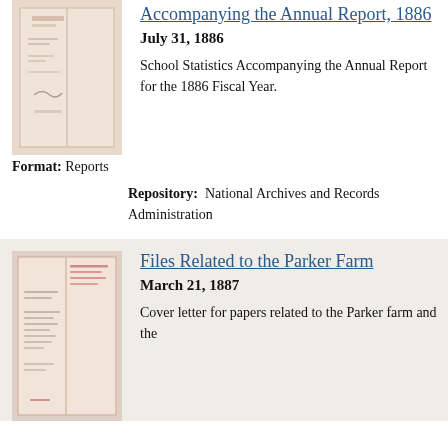[Figure (photo): Thumbnail of a historical document, beige/pinkish paper with faded text, folded cover sheet]
Accompanying the Annual Report, 1886
July 31, 1886
School Statistics Accompanying the Annual Report for the 1886 Fiscal Year.
Format: Reports
Repository: National Archives and Records Administration
[Figure (photo): Thumbnail of a historical handwritten document, pinkish paper with red ink handwriting]
Files Related to the Parker Farm
March 21, 1887
Cover letter for papers related to the Parker farm and the